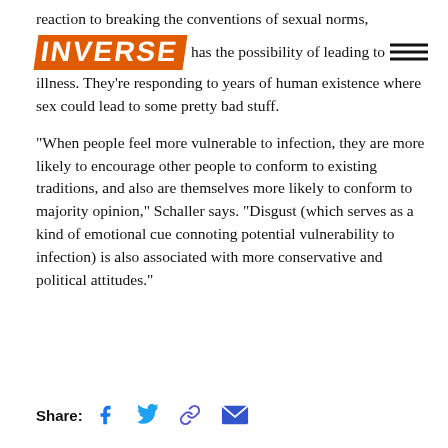reaction to breaking the conventions of sexual norms, because sexual contact has the possibility of leading to illness. They're responding to years of human existence where sex could lead to some pretty bad stuff.
[Figure (logo): INVERSE logo in orange with navigation hamburger lines]
“When people feel more vulnerable to infection, they are more likely to encourage other people to conform to existing traditions, and also are themselves more likely to conform to majority opinion,” Schaller says. “Disgust (which serves as a kind of emotional cue connoting potential vulnerability to infection) is also associated with more conservative and political attitudes.”
Share: [Facebook icon] [Twitter icon] [Link icon] [Email icon]